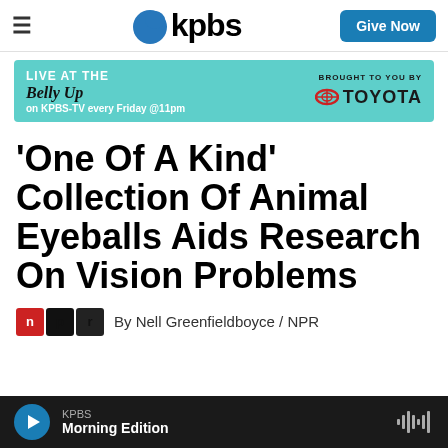kpbs — Give Now
[Figure (infographic): KPBS advertisement banner: LIVE AT THE Belly Up on KPBS-TV every Friday @11pm, BROUGHT TO YOU BY TOYOTA]
'One Of A Kind' Collection Of Animal Eyeballs Aids Research On Vision Problems
By Nell Greenfieldboyce / NPR
KPBS Morning Edition